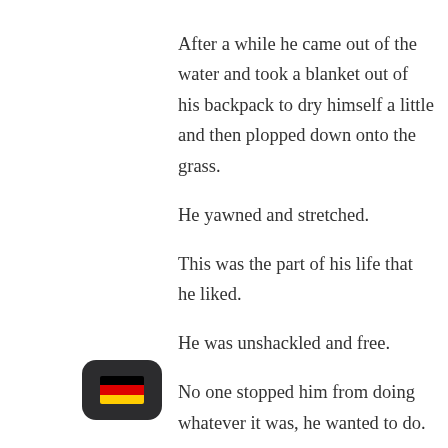After a while he came out of the water and took a blanket out of his backpack to dry himself a little and then plopped down onto the grass. He yawned and stretched. This was the part of his life that he liked. He was unshackled and free. No one stopped him from doing whatever it was, he wanted to do. Nonetheless he secretly dreamed about some stability and the chance to stay longer in one place than being thrown out after a few days. He was sick of walking around aimlessly and hoped that the right opportunity would reveal itself one day. Though, this way of thinking didn't really matter as long as he wasn't willing to swear off of his thieving lifestyle. It wasn't as if he enjoyed doing it, taking from other people for his own gain, but he was just so damn good at it. A quick grab into a pocket of an inobservant passerby his dinner was secured.
[Figure (illustration): App icon showing German flag (black, red, gold) on dark rounded square background]